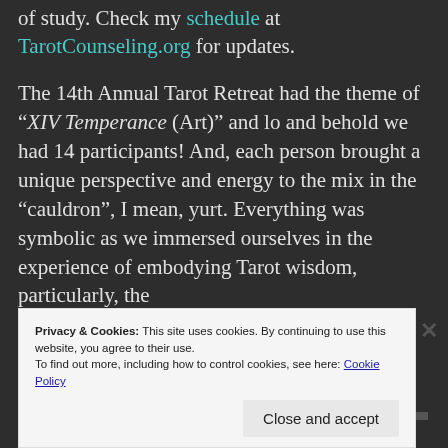of study. Check my schedule at TarotCounseling.org for updates.
The 14th Annual Tarot Retreat had the theme of “XIV Temperance (Art)” and lo and behold we had 14 participants! And, each person brought a unique perspective and energy to the mix in the “cauldron”, I mean, yurt. Everything was symbolic as we immersed ourselves in the experience of embodying Tarot wisdom, particularly, the
Privacy & Cookies: This site uses cookies. By continuing to use this website, you agree to their use.
To find out more, including how to control cookies, see here: Cookie Policy
Close and accept